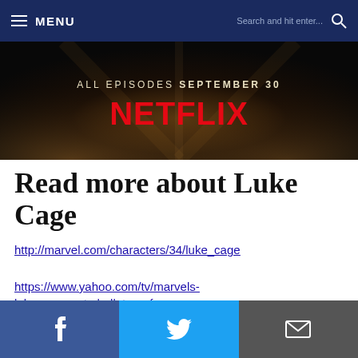≡ MENU  Search and hit enter...
[Figure (photo): Netflix banner ad for Luke Cage: ALL EPISODES SEPTEMBER 30 NETFLIX, dark cityscape background with golden light rays]
Read more about Luke Cage
http://marvel.com/characters/34/luke_cage
https://www.yahoo.com/tv/marvels-luke-cage-gets-bulletproof-
[Figure (infographic): Social sharing buttons: Facebook (blue), Twitter (cyan), Email (dark gray)]